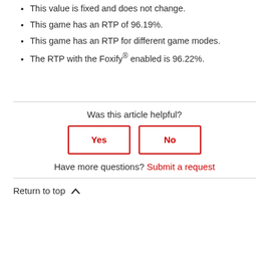This value is fixed and does not change.
This game has an RTP of 96.19%.
This game has an RTP for different game modes.
The RTP with the Foxify® enabled is 96.22%.
Was this article helpful?
Yes
No
Have more questions? Submit a request
Return to top